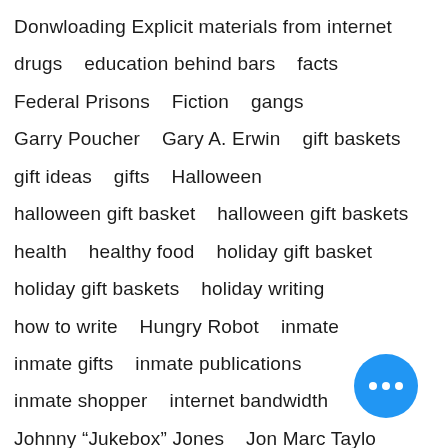Donwloading Explicit materials from internet
drugs   education behind bars   facts
Federal Prisons   Fiction   gangs
Garry Poucher   Gary A. Erwin   gift baskets
gift ideas   gifts   Halloween
halloween gift basket   halloween gift baskets
health   healthy food   holiday gift basket
holiday gift baskets   holiday writing
how to write   Hungry Robot   inmate
inmate gifts   inmate publications
inmate shopper   internet bandwidth
Johnny “Jukebox” Jones   Jon Marc Taylo
Jose H. Villarreal   josh kruger   Larry Coleman
Lifer   Little Ghetto Boy   lucifer   Marvin
Nefertiri   O. J. murder trial   O. J. Simpson